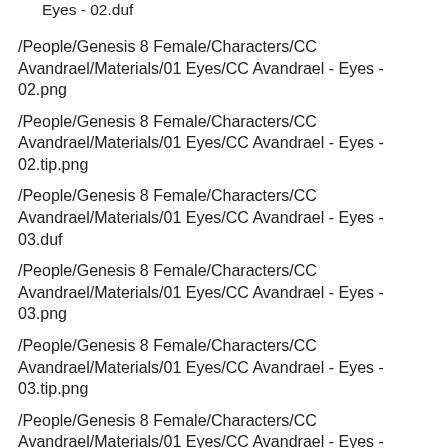Eyes - 02.duf
/People/Genesis 8 Female/Characters/CC Avandrael/Materials/01 Eyes/CC Avandrael - Eyes - 02.png
/People/Genesis 8 Female/Characters/CC Avandrael/Materials/01 Eyes/CC Avandrael - Eyes - 02.tip.png
/People/Genesis 8 Female/Characters/CC Avandrael/Materials/01 Eyes/CC Avandrael - Eyes - 03.duf
/People/Genesis 8 Female/Characters/CC Avandrael/Materials/01 Eyes/CC Avandrael - Eyes - 03.png
/People/Genesis 8 Female/Characters/CC Avandrael/Materials/01 Eyes/CC Avandrael - Eyes - 03.tip.png
/People/Genesis 8 Female/Characters/CC Avandrael/Materials/01 Eyes/CC Avandrael - Eyes - 04.duf
/People/Genesis 8 Female/Characters/CC